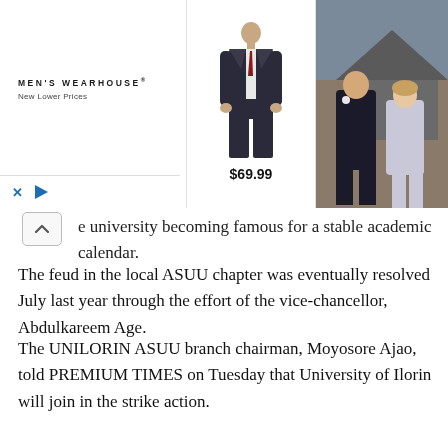[Figure (photo): Men's Wearhouse advertisement banner showing a suit-clad figure with price $69.99 in the center and a couple in formal wear on the right. Logo and 'New Lower Prices' text on the left.]
e university becoming famous for a stable academic calendar.
The feud in the local ASUU chapter was eventually resolved July last year through the effort of the vice-chancellor, Abdulkareem Age.
The UNILORIN ASUU branch chairman, Moyosore Ajao, told PREMIUM TIMES on Tuesday that University of Ilorin will join in the strike action.
Speaking on the school’s over 19 years of uninterrupted academic calendar, Mr Ajao said, “everything that has a beginning must surely have an end.”